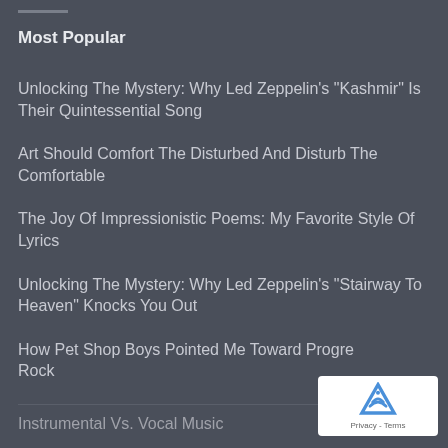Most Popular
Unlocking The Mystery: Why Led Zeppelin's "Kashmir" Is Their Quintessential Song
Art Should Comfort The Disturbed And Disturb The Comfortable
The Joy Of Impressionistic Poems: My Favorite Style Of Lyrics
Unlocking The Mystery: Why Led Zeppelin's "Stairway To Heaven" Knocks You Out
How Pet Shop Boys Pointed Me Toward Progressive Rock
Instrumental Vs. Vocal Music